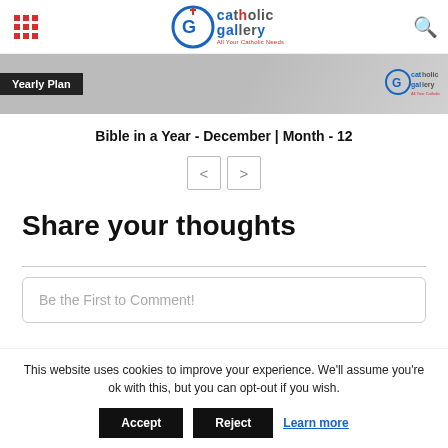Catholic Gallery - All Your Catholic Needs
[Figure (screenshot): Banner image with Yearly Plan label and Catholic Gallery logo watermark]
Bible in a Year - December | Month - 12
< >
Share your thoughts
Be the First to Comment!
This website uses cookies to improve your experience. We'll assume you're ok with this, but you can opt-out if you wish.
Accept   Reject   Learn more